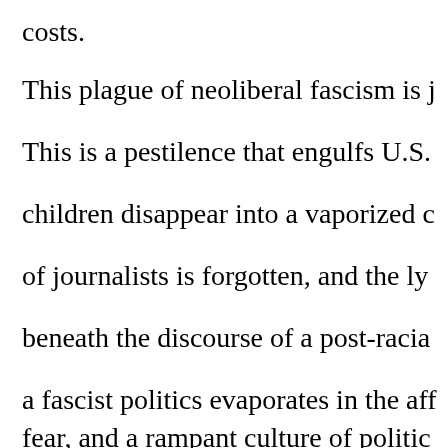costs.
This plague of neoliberal fascism is j
This is a pestilence that engulfs U.S.
children disappear into a vaporized c
of journalists is forgotten, and the ly
beneath the discourse of a post-racia
a fascist politics evaporates in the aff
fear, and a rampant culture of politic